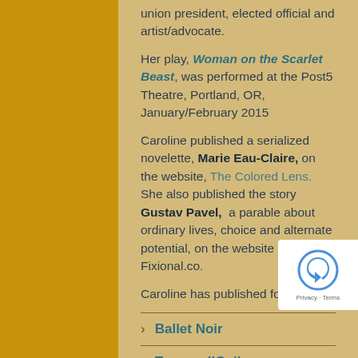union president, elected official and artist/advocate.
Her play, Woman on the Scarlet Beast, was performed at the Post5 Theatre, Portland, OR, January/February 2015
Caroline published a serialized novelette, Marie Eau-Claire, on the website, The Colored Lens.  She also published the story Gustav Pavel,  a parable about ordinary lives, choice and alternate potential, on the website Fixional.co.
Caroline has published four novels
Ballet Noir
Trompe l’Oeil
Gothic Spring
Heart Land